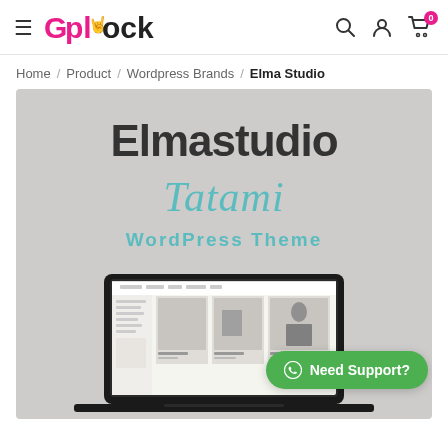GplRock — Navigation header with hamburger menu, logo, search, account, and cart icons
Home / Product / Wordpress Brands / Elma Studio
[Figure (screenshot): Product image for Elmastudio Tatami WordPress Theme on GplRock store. Shows the theme brand name 'Elmastudio' in dark, 'Tatami' in teal italic, 'WordPress Theme' in teal, over a gray background with a laptop mockup showing the theme preview below. A green 'Need Support?' WhatsApp button overlays the bottom right.]